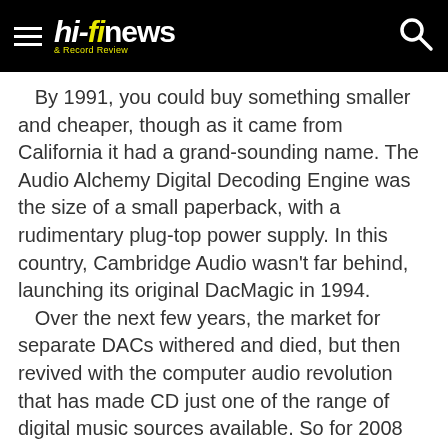hi-fi news & Record Review
By 1991, you could buy something smaller and cheaper, though as it came from California it had a grand-sounding name. The Audio Alchemy Digital Decoding Engine was the size of a small paperback, with a rudimentary plug-top power supply. In this country, Cambridge Audio wasn't far behind, launching its original DacMagic in 1994.
   Over the next few years, the market for separate DACs withered and died, but then revived with the computer audio revolution that has made CD just one of the range of digital music sources available. So for 2008 Cambridge reintroduced its DacMagic name with a new and far more sophisticated product.